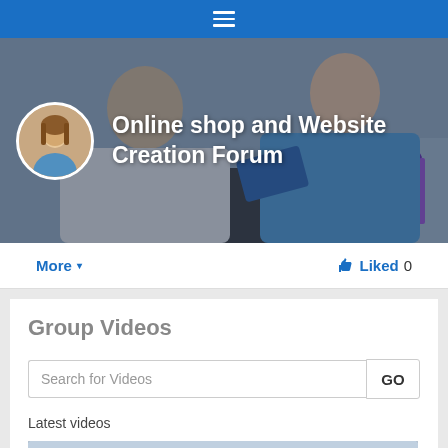Navigation bar with hamburger menu
[Figure (screenshot): Banner image showing a couple shopping online with colorful bags, overlaid with a circular avatar photo and the text 'Online shop and Website Creation Forum']
More  ▾
👍 Liked 0
Group Videos
Search for Videos
GO
Latest videos
[Figure (screenshot): Video thumbnail showing a person, with a timer overlay showing 00:21]